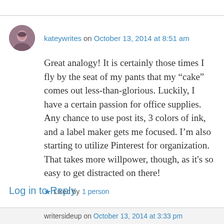kateywrites on October 13, 2014 at 8:51 am
Great analogy! It is certainly those times I fly by the seat of my pants that my “cake” comes out less-than-glorious. Luckily, I have a certain passion for office supplies. Any chance to use post its, 3 colors of ink, and a label maker gets me focused. I’m also starting to utilize Pinterest for organization. That takes more willpower, though, as it’s so easy to get distracted on there!
Liked by 1 person
Log in to Reply
writersideup on October 13, 2014 at 3:33 pm